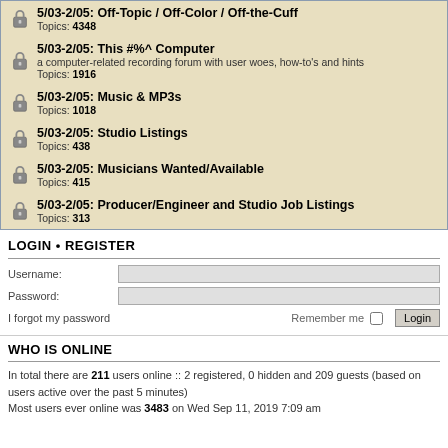5/03-2/05: Off-Topic / Off-Color / Off-the-Cuff
Topics: 4348
5/03-2/05: This #%^ Computer
a computer-related recording forum with user woes, how-to's and hints
Topics: 1916
5/03-2/05: Music & MP3s
Topics: 1018
5/03-2/05: Studio Listings
Topics: 438
5/03-2/05: Musicians Wanted/Available
Topics: 415
5/03-2/05: Producer/Engineer and Studio Job Listings
Topics: 313
LOGIN • REGISTER
Username:
Password:
I forgot my password
Remember me
WHO IS ONLINE
In total there are 211 users online :: 2 registered, 0 hidden and 209 guests (based on users active over the past 5 minutes)
Most users ever online was 3483 on Wed Sep 11, 2019 7:09 am